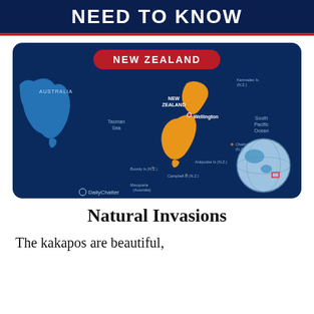NEED TO KNOW
[Figure (map): Map of New Zealand region showing Australia to the west, Tasman Sea, South Pacific Ocean, New Zealand (highlighted in orange) with Wellington marked. Various island labels including Kermadec Is (NZ), Chatham Is (NZ), Antipodes Is (NZ), Bounty Is (NZ), Campbell Is (NZ), Macquarie (Australia). Inset globe showing location. DailyChatter logo at bottom left. 'NEW ZEALAND' label in red pill-shaped banner at top.]
Natural Invasions
The kakapos are beautiful,